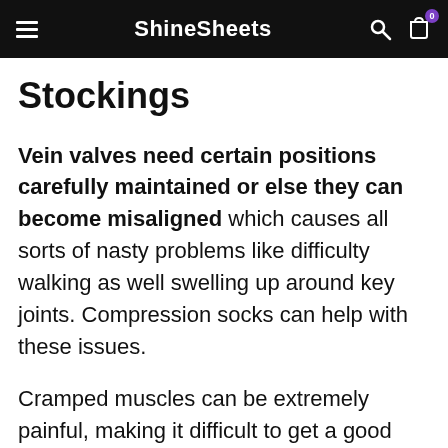ShineSheets
Stockings
Vein valves need certain positions carefully maintained or else they can become misaligned which causes all sorts of nasty problems like difficulty walking as well swelling up around key joints. Compression socks can help with these issues.
Cramped muscles can be extremely painful, making it difficult to get a good night's sleep. For people who experience regular cramping, wearing compression during the day can help to reduce